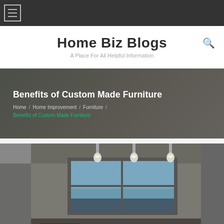Home Biz Blogs navigation menu icon
Home Biz Blogs
A Place For All Helpful Information
Benefits of Custom Made Furniture
Home / Home Improvement / Furniture / Benefits of Custom Made Furniture
[Figure (photo): Interior photo showing a room with ceiling pendant lights above a large window with a city/landscape view, and dark furniture in the foreground]